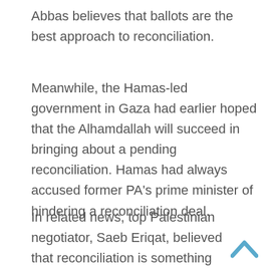Abbas believes that ballots are the best approach to reconciliation.
Meanwhile, the Hamas-led government in Gaza had earlier hoped that the Alhamdallah will succeed in bringing about a pending reconciliation. Hamas had always accused former PA's prime minister of hindering a reconciliation deal.
In related news, top Palestinian negotiator, Saeb Eriqat, believed that reconciliation is something urgent and that Hamas seems to have been uninterested in observing that